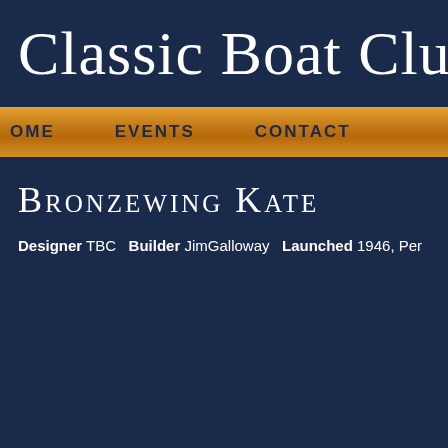Classic Boat Club
HOME   EVENTS   CONTACT
Bronzewing Kate
Designer TBC   Builder JimGalloway   Launched 1946, Per...